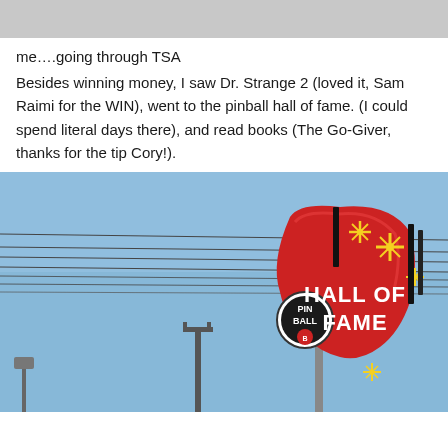[Figure (photo): Gray banner/header area at top of page]
me….going through TSA
Besides winning money, I saw Dr. Strange 2 (loved it, Sam Raimi for the WIN), went to the pinball hall of fame. (I could spend literal days there), and read books (The Go-Giver, thanks for the tip Cory!).
[Figure (photo): Photograph of the Pinball Hall of Fame sign against a blue sky, showing a large red guitar-shaped sign with HALL OF FAME lettering and a pinball (PINB) logo with star burst decorations, with power lines visible and a street lamp in foreground.]